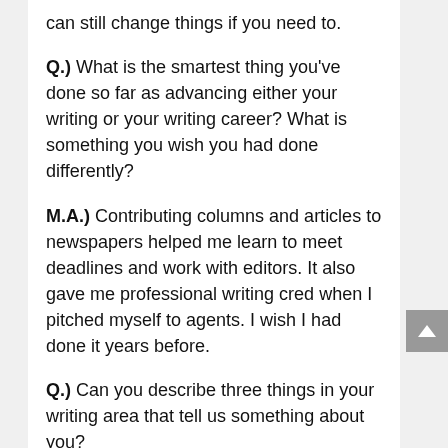can still change things if you need to.
Q.) What is the smartest thing you've done so far as advancing either your writing or your writing career? What is something you wish you had done differently?
M.A.) Contributing columns and articles to newspapers helped me learn to meet deadlines and work with editors. It also gave me professional writing cred when I pitched myself to agents. I wish I had done it years before.
Q.) Can you describe three things in your writing area that tell us something about you?
M.A.) My writing area is a disaster, because I hate filing. I have a bulletin board